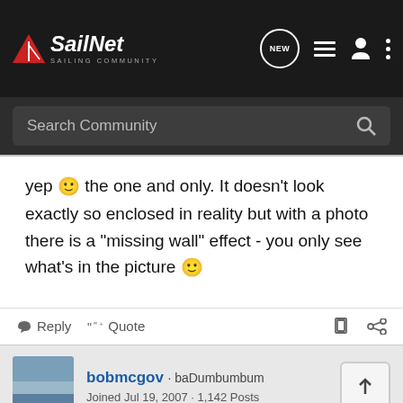SailNet SAILING COMMUNITY
Search Community
yep 🙂 the one and only. It doesn't look exactly so enclosed in reality but with a photo there is a "missing wall" effect - you only see what's in the picture 🙂
Reply   Quote
bobmcgov · baDumbumbum
Joined Jul 19, 2007 · 1,142 Posts
#4 · May 20, 2009
Windshield wipers?